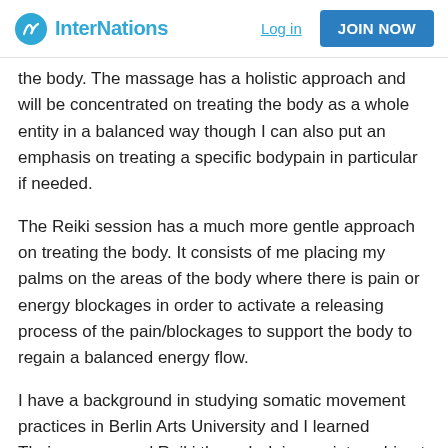InterNations  Log in  JOIN NOW
the body. The massage has a holistic approach and will be concentrated on treating the body as a whole entity in a balanced way though I can also put an emphasis on treating a specific bodypain in particular if needed.
The Reiki session has a much more gentle approach on treating the body. It consists of me placing my palms on the areas of the body where there is pain or energy blockages in order to activate a releasing process of the pain/blockages to support the body to regain a balanced energy flow.
I have a background in studying somatic movement practices in Berlin Arts University and I learned Thaimassage and Reiki through doing an internship at a Thaimassageshop, through studying with books and practicing on bodies as well as through getting mentoring from a Thaimassage and Reikiteacher.
I do home visits (all you need to have is some space on the floor) and I offer 120min/50€ Thai massage sessions which is